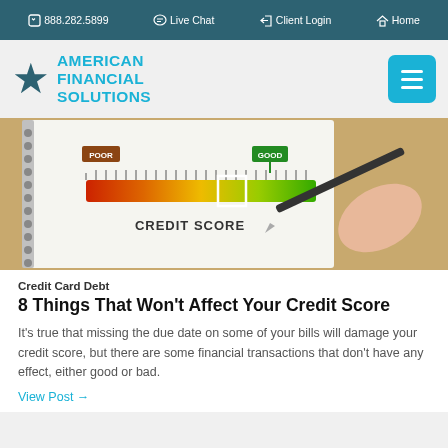888.282.5899  Live Chat  Client Login  Home
[Figure (logo): American Financial Solutions logo with teal star and text]
[Figure (photo): Hand writing 'CREDIT SCORE' on a notepad with a credit score gauge showing Poor to Good range]
Credit Card Debt
8 Things That Won't Affect Your Credit Score
It's true that missing the due date on some of your bills will damage your credit score, but there are some financial transactions that don't have any effect, either good or bad.
View Post →